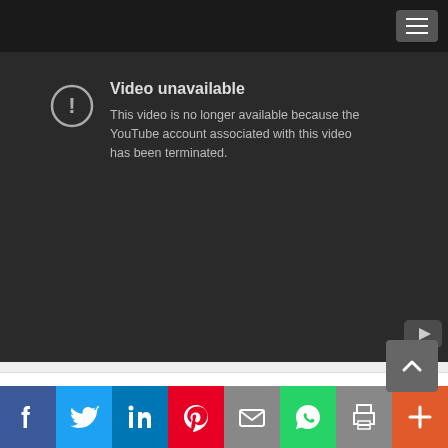[Figure (screenshot): YouTube video unavailable error screen with dark background. Shows an exclamation mark icon in a circle, the text 'Video unavailable' and 'This video is no longer available because the YouTube account associated with this video has been terminated.']
Weekly Poll
[Figure (screenshot): Social media sharing bar with buttons for Facebook, Twitter, LinkedIn, Pinterest, Email, WhatsApp, Print, and More (+).]